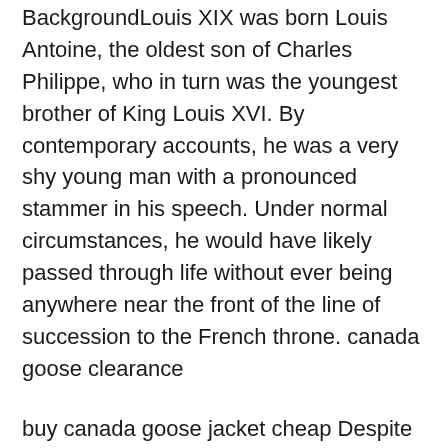BackgroundLouis XIX was born Louis Antoine, the oldest son of Charles Philippe, who in turn was the youngest brother of King Louis XVI. By contemporary accounts, he was a very shy young man with a pronounced stammer in his speech. Under normal circumstances, he would have likely passed through life without ever being anywhere near the front of the line of succession to the French throne. canada goose clearance
buy canada goose jacket cheap Despite never uttering a word, Oscar winner Hunter exudes intelligence and determination as the rebellious Ada, along with a repressed yet combustible sensuality. Anna Paquin is a marvel in her debut, exemplifying the mix of spunk and knowingness that made her a sought after young star. Visually ravishing and exquisite, “The Piano” cheap